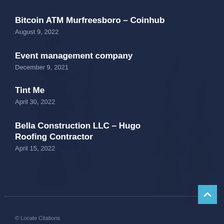Bitcoin ATM Murfreesboro – Coinhub
August 9, 2022
Event management company
December 9, 2021
Tint Me
April 30, 2022
Bella Construction LLC – Hugo Roofing Contractor
April 15, 2022
© Locate Citations